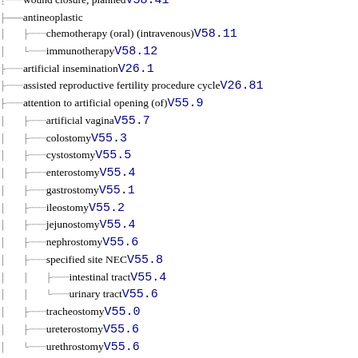wound closure, planned V58.41
antineoplastic
chemotherapy (oral) (intravenous) V58.11
immunotherapy V58.12
artificial insemination V26.1
assisted reproductive fertility procedure cycle V26.81
attention to artificial opening (of) V55.9
artificial vagina V55.7
colostomy V55.3
cystostomy V55.5
enterostomy V55.4
gastrostomy V55.1
ileostomy V55.2
jejunostomy V55.4
nephrostomy V55.6
specified site NEC V55.8
intestinal tract V55.4
urinary tract V55.6
tracheostomy V55.0
ureterostomy V55.6
urethrostomy V55.6
battery replacement
cardiac pacemaker V53.31